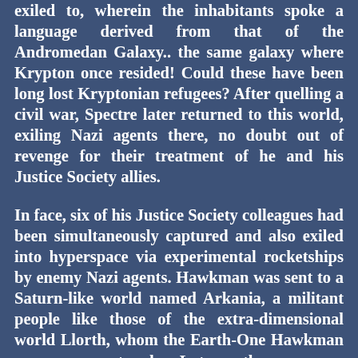exiled to, wherein the inhabitants spoke a language derived from that of the Andromedan Galaxy.. the same galaxy where Krypton once resided! Could these have been long lost Kryptonian refugees? After quelling a civil war, Spectre later returned to this world, exiling Nazi agents there, no doubt out of revenge for their treatment of he and his Justice Society allies.
In face, six of his Justice Society colleagues had been simultaneously captured and also exiled into hyperspace via experimental rocketships by enemy Nazi agents. Hawkman was sent to a Saturn-like world named Arkania, a militant people like those of the extra-dimensional world Llorth, whom the Earth-One Hawkman once encountered. Later, the younger Hawkman traveled on twice through another dimensional warp to the world of Illoral, a mirror image of the Wingworld that Wonder Woman of the Justice Society visited more than once. Queen Desira and her daughter Princess Tara of Llorth, and b